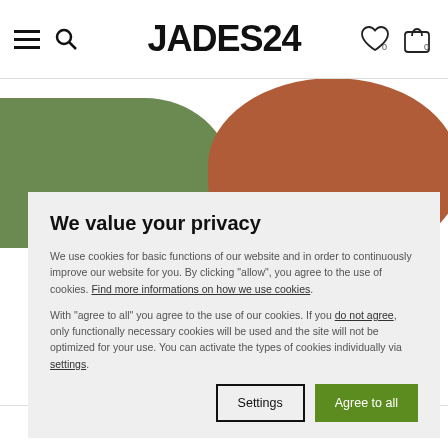JADES24 — navigation header with hamburger menu, search, wishlist (0), cart (0)
[Figure (photo): Website screenshot showing a green shoe on the left and a reddish-brown shoe on the right against a white background, partially obscured by a cookie consent modal]
We value your privacy
We use cookies for basic functions of our website and in order to continuously improve our website for you. By clicking "allow", you agree to the use of cookies. Find more informations on how we use cookies.
With "agree to all" you agree to the use of our cookies. If you do not agree, only functionally necessary cookies will be used and the site will not be optimized for your use. You can activate the types of cookies individually via settings.
Settings | Agree to all
DO YOU HAVE ANY QUESTIONS?